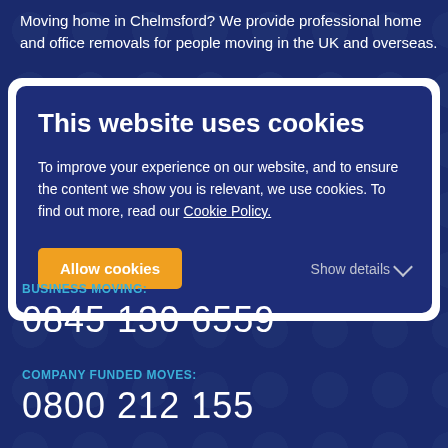Moving home in Chelmsford? We provide professional home and office removals for people moving in the UK and overseas.
This website uses cookies
To improve your experience on our website, and to ensure the content we show you is relevant, we use cookies. To find out more, read our Cookie Policy.
Allow cookies
Show details
BUSINESS MOVING:
0845 130 6559
COMPANY FUNDED MOVES:
0800 212 155